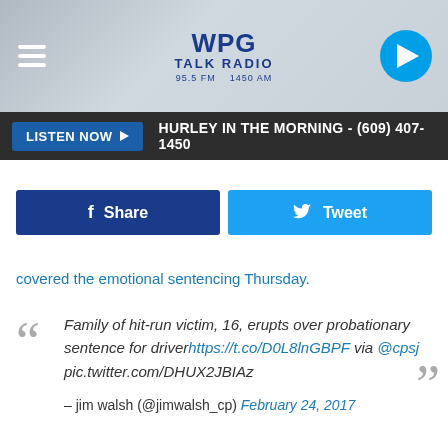[Figure (screenshot): WPG Talk Radio header banner with hamburger menu on left, WPG Talk Radio logo in center, and blue play button on right]
LISTEN NOW ► HURLEY IN THE MORNING - (609) 407-1450
[Figure (infographic): Social share buttons: blue Facebook Share button and light blue Twitter Tweet button]
covered the emotional sentencing Thursday.
Family of hit-run victim, 16, erupts over probationary sentence for driver https://t.co/D0L8lnGBPF via @cpsj pic.twitter.com/DHUX2JBIAz — jim walsh (@jimwalsh_cp) February 24, 2017